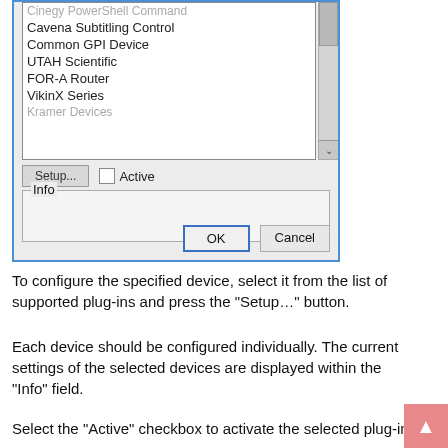[Figure (screenshot): A dialog window showing a list of supported plug-ins including 'Cinegy PowerShell Command', 'Cavena Subtitling Control', 'Common GPI Device', 'UTAH Scientific', 'FOR-A Router', 'VikinX Series', 'Kramer Devices' with a scrollbar. Below the list are a 'Setup...' button and an 'Active' checkbox. An 'Info' group box follows. At the bottom are 'OK' (highlighted with blue border) and 'Cancel' buttons.]
To configure the specified device, select it from the list of supported plug-ins and press the "Setup..." button.
Each device should be configured individually. The current settings of the selected devices are displayed within the "Info" field.
Select the "Active" checkbox to activate the selected plug-in.